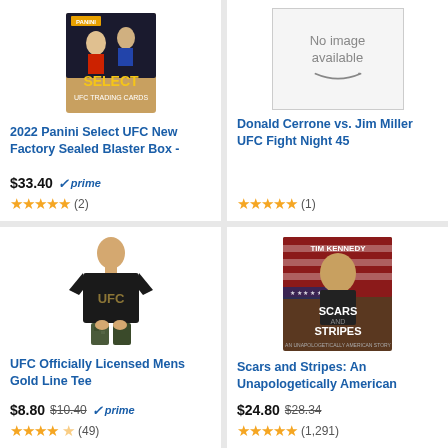[Figure (photo): 2022 Panini Select UFC trading card box product image]
2022 Panini Select UFC New Factory Sealed Blaster Box -
$33.40 prime (2)
[Figure (photo): No image available placeholder with Amazon smile logo]
Donald Cerrone vs. Jim Miller UFC Fight Night 45
★★★★★ (1)
[Figure (photo): UFC Officially Licensed Mens Gold Line Tee shirt product photo, person wearing black UFC t-shirt]
UFC Officially Licensed Mens Gold Line Tee
$8.80 $10.40 prime (49)
[Figure (photo): Scars and Stripes book cover by Tim Kennedy, man in front of American flag]
Scars and Stripes: An Unapologetically American
$24.80 $28.34 (1,291)